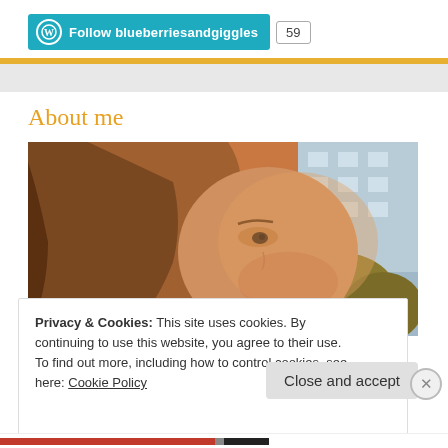[Figure (screenshot): WordPress Follow button for blueberriesandgiggles with follower count 59]
About me
[Figure (photo): Close-up photo of a woman with long brown hair looking to the side, taken outdoors with building and foliage in background]
Privacy & Cookies: This site uses cookies. By continuing to use this website, you agree to their use.
To find out more, including how to control cookies, see here: Cookie Policy
Close and accept